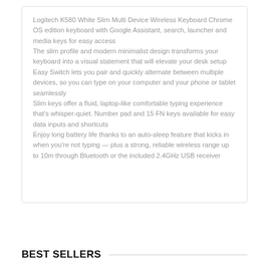Logitech K580 White Slim Multi Device Wireless Keyboard Chrome OS edition keyboard with Google Assistant, search, launcher and media keys for easy access
The slim profile and modern minimalist design transforms your keyboard into a visual statement that will elevate your desk setup
Easy Switch lets you pair and quickly alternate between multiple devices, so you can type on your computer and your phone or tablet seamlessly
Slim keys offer a fluid, laptop-like comfortable typing experience that's whisper-quiet. Number pad and 15 FN keys available for easy data inputs and shortcuts
Enjoy long battery life thanks to an auto-sleep feature that kicks in when you're not typing — plus a strong, reliable wireless range up to 10m through Bluetooth or the included 2.4GHz USB receiver
BEST SELLERS